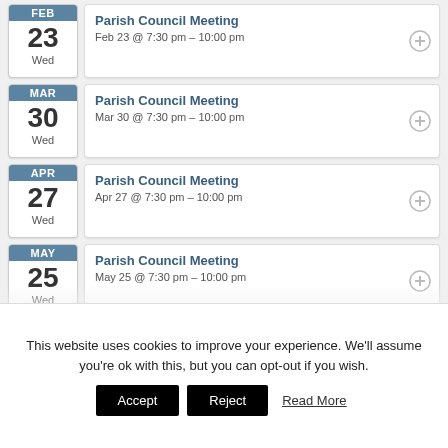Parish Council Meeting – Feb 23 @ 7:30 pm – 10:00 pm
Parish Council Meeting – Mar 30 @ 7:30 pm – 10:00 pm
Parish Council Meeting – Apr 27 @ 7:30 pm – 10:00 pm
Parish Council Meeting – May 25 @ 7:30 pm – 10:00 pm
Parish Council Meeting – Jun 29 @ 7:30 pm – 10:00 pm
This website uses cookies to improve your experience. We'll assume you're ok with this, but you can opt-out if you wish.
Accept  Reject  Read More